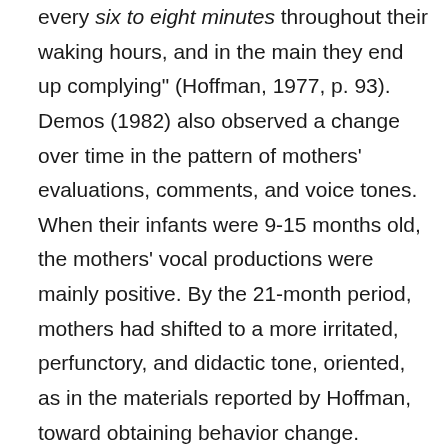every six to eight minutes throughout their waking hours, and in the main they end up complying" (Hoffman, 1977, p. 93). Demos (1982) also observed a change over time in the pattern of mothers' evaluations, comments, and voice tones. When their infants were 9-15 months old, the mothers' vocal productions were mainly positive. By the 21-month period, mothers had shifted to a more irritated, perfunctory, and didactic tone, oriented, as in the materials reported by Hoffman, toward obtaining behavior change. Certainly, the high rate of behavior change parents require of their children by the second year is not achieved in most cases without punishment of which the child ordinarily develops some fear. Indeed, before gaining the ability to reason through the grounds for a behavior change, children must necessarily control their conduct largely through fear of the aversive consequences learned